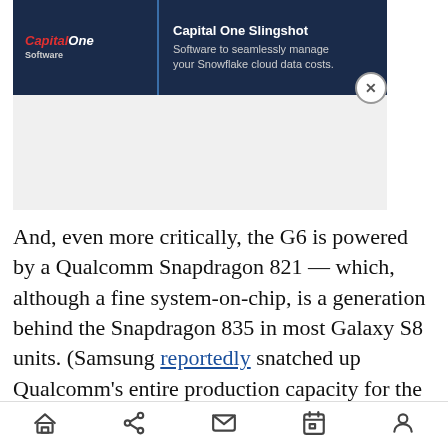[Figure (screenshot): Capital One Software advertisement banner with dark navy background. Left side shows Capital One logo with red accent and 'Software' text. Right side shows 'Capital One Slingshot' headline and tagline 'Software to seamlessly manage your Snowflake cloud data costs.' A close (X) button appears at bottom-right of the ad.]
And, even more critically, the G6 is powered by a Qualcomm Snapdragon 821 — which, although a fine system-on-chip, is a generation behind the Snapdragon 835 in most Galaxy S8 units. (Samsung reportedly snatched up Qualcomm's entire production capacity for the 835 for some time.)
On the plus side, G6 should be priced competitively
[Figure (other): Mobile browser bottom navigation bar with home, share, mail, calendar, and profile icons.]